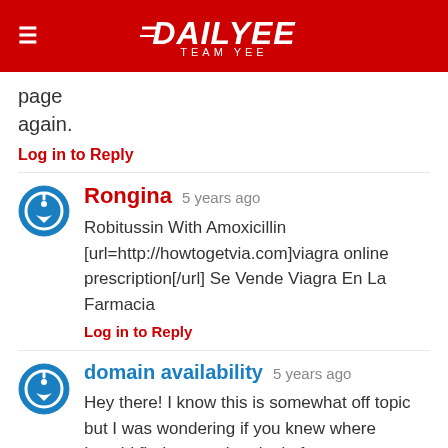DAILYEE — TEAM YEE
page again.
Log in to Reply
Rongina  5 years ago
Robitussin With Amoxicillin [url=http://howtogetvia.com]viagra online prescription[/url] Se Vende Viagra En La Farmacia
Log in to Reply
domain availability  5 years ago
Hey there! I know this is somewhat off topic but I was wondering if you knew where I could find a captcha plugin for my comment form? I'm using the same blog platform as yours and I'm